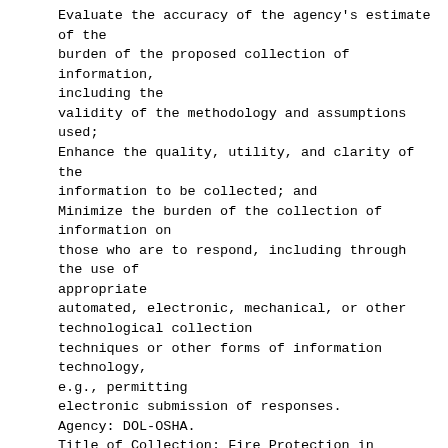Evaluate the accuracy of the agency's estimate of the burden of the proposed collection of information, including the validity of the methodology and assumptions used; Enhance the quality, utility, and clarity of the information to be collected; and Minimize the burden of the collection of information on those who are to respond, including through the use of appropriate automated, electronic, mechanical, or other technological collection techniques or other forms of information technology, e.g., permitting electronic submission of responses. Agency: DOL-OSHA. Title of Collection: Fire Protection in Shipyard Employment Standard. OMB Control Number: 1218-0248. Affected Public: Private Sector--businesses or other for-profits. Total Estimated Number of Respondents: 294. Total Estimated Number of Responses: 53,121.